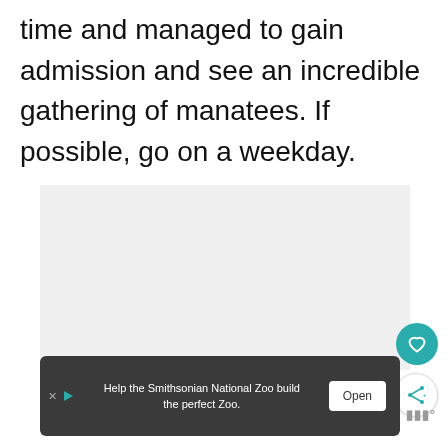time and managed to gain admission and see an incredible gathering of manatees. If possible, go on a weekday.
[Figure (photo): A light gray placeholder image area representing a photo of manatees or related content.]
[Figure (other): UI buttons: heart (favorite) button in teal and share button in white circle.]
Help the Smithsonian National Zoo build the perfect Zoo. Open